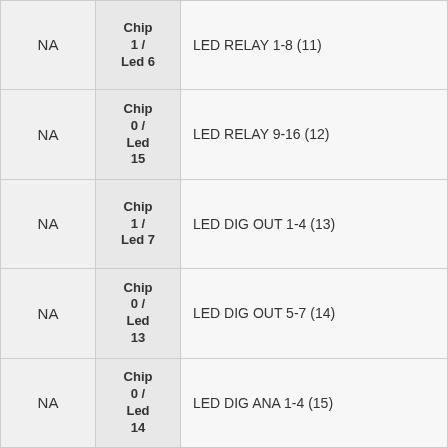| NA | Chip / Led | Description |
| --- | --- | --- |
| NA | Chip 1 / Led 6 | LED RELAY 1-8 (11) |
| NA | Chip 0 / Led 15 | LED RELAY 9-16 (12) |
| NA | Chip 1 / Led 7 | LED DIG OUT 1-4 (13) |
| NA | Chip 0 / Led 13 | LED DIG OUT 5-7 (14) |
| NA | Chip 0 / Led 14 | LED DIG ANA 1-4 (15) |